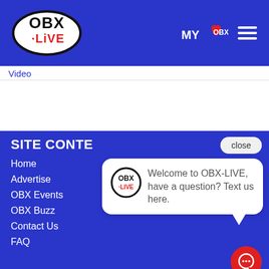OBX-LIVE header with logo, MyOBX and navigation menu
Video
SITE CONTE…
Home
Advertise
OBX Events
OBX Buzz
Contact Us
FAQ
[Figure (screenshot): Chat popup widget with OBX-LIVE logo and message: Welcome to OBX-LIVE, have a question? Text us here. With a close button and red chat icon.]